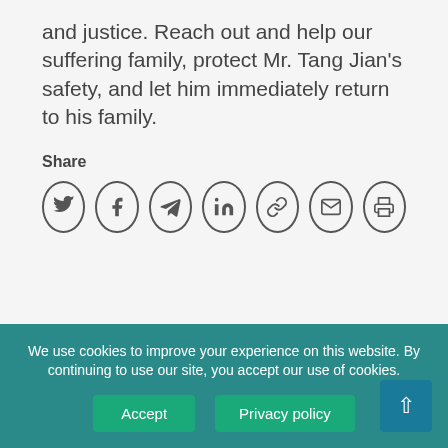and justice. Reach out and help our suffering family, protect Mr. Tang Jian’s safety, and let him immediately return to his family.
Share
[Figure (other): Social share icons: Twitter, Facebook, Telegram, LinkedIn, Link, Email, Print]
RELATED NEWS
Former College Science
Lecturer Sexually Assaulted
We use cookies to improve your experience on this website. By continuing to use our site, you accept our use of cookies.
Accept
Privacy policy